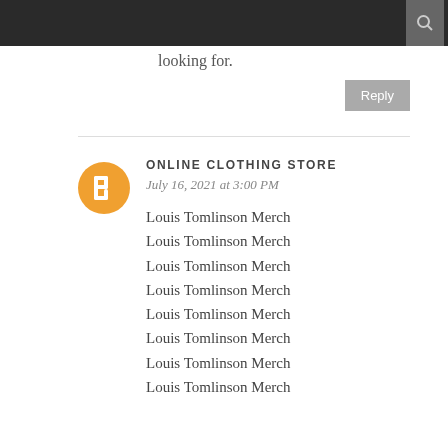looking for.
Reply
ONLINE CLOTHING STORE
July 16, 2021 at 3:00 PM
Louis Tomlinson Merch
Louis Tomlinson Merch
Louis Tomlinson Merch
Louis Tomlinson Merch
Louis Tomlinson Merch
Louis Tomlinson Merch
Louis Tomlinson Merch
Louis Tomlinson Merch